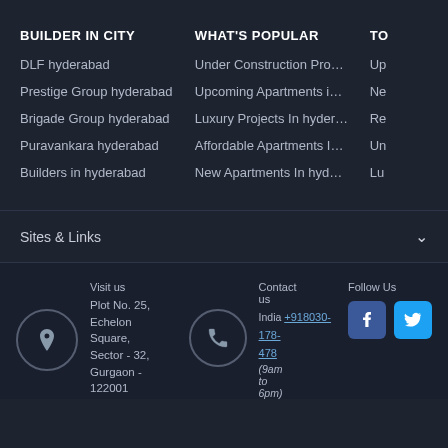BUILDER IN CITY
DLF hyderabad
Prestige Group hyderabad
Brigade Group hyderabad
Puravankara hyderabad
Builders in hyderabad
WHAT'S POPULAR
Under Construction Pro...
Upcoming Apartments i...
Luxury Projects In hyder...
Affordable Apartments I...
New Apartments In hyd...
TO
Up
Ne
Re
Un
Lu
Sites & Links
Visit us
Plot No. 25, Echelon Square, Sector - 32, Gurgaon - 122001
Contact us
India +918030-178-478
(9am to 6pm)
Follow Us